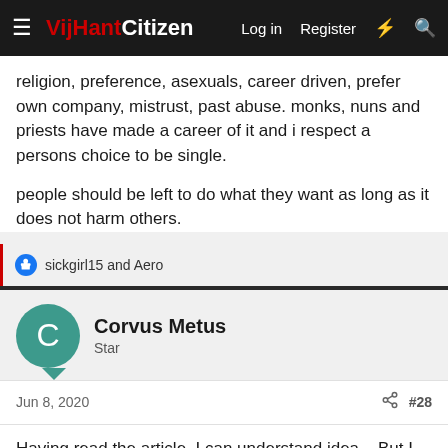VijHant Citizen — Log in  Register
religion, preference, asexuals, career driven, prefer own company, mistrust, past abuse. monks, nuns and priests have made a career of it and i respect a persons choice to be single.
people should be left to do what they want as long as it does not harm others.
sickgirl15 and Aero
Corvus Metus
Star
Jun 8, 2020  #28
Having read the article, I can understand idea... But I also think that separatism can breed alienation, alienation can